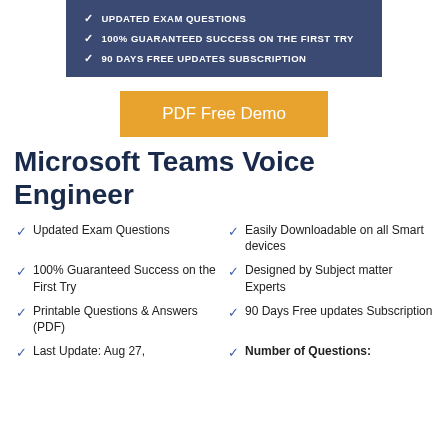UPDATED EXAM QUESTIONS
100% GUARANTEED SUCCESS ON THE FIRST TRY
90 DAYS FREE UPDATES SUBSCRIPTION
PDF Free Demo
Microsoft Teams Voice Engineer
Updated Exam Questions
Easily Downloadable on all Smart devices
100% Guaranteed Success on the First Try
Designed by Subject matter Experts
Printable Questions & Answers (PDF)
90 Days Free updates Subscription
Last Update: Aug 27,
Number of Questions: